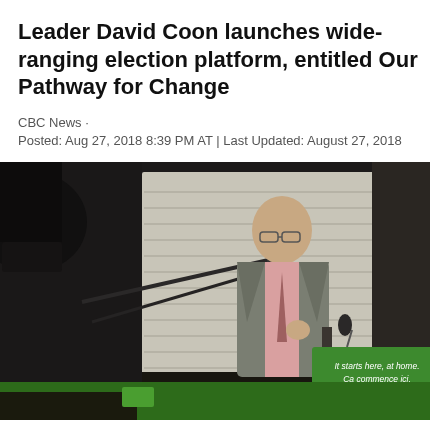Leader David Coon launches wide-ranging election platform, entitled Our Pathway for Change
CBC News · Posted: Aug 27, 2018 8:39 PM AT | Last Updated: August 27, 2018
[Figure (photo): Green Party Leader David Coon speaking at a podium with a green sign reading 'It starts here, at home. Ça commence ici, chez nous. green vert', surrounded by camera equipment and microphones.]
Green Party Leader David Coon presented his party's election platform, Our Pathway for Change, in Fredericton Monday